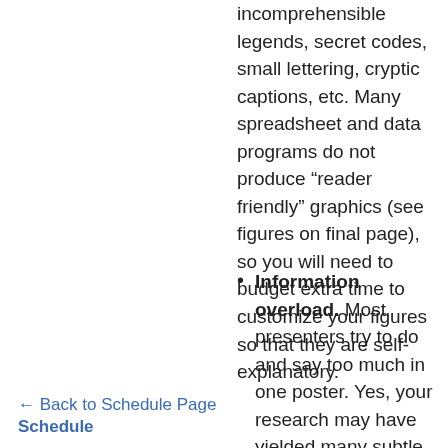incomprehensible legends, secret codes, small lettering, cryptic captions, etc. Many spreadsheet and data programs do not produce “reader friendly” graphics (see figures on final page), so you will need to budget extra time to customize your figures so that they are self-explanatory.
Information overload. Most presenters try to do and say too much in one poster. Yes, your research may have yielded many subtle and intertwined results, BUT you
← Back to Schedule Page
Schedule